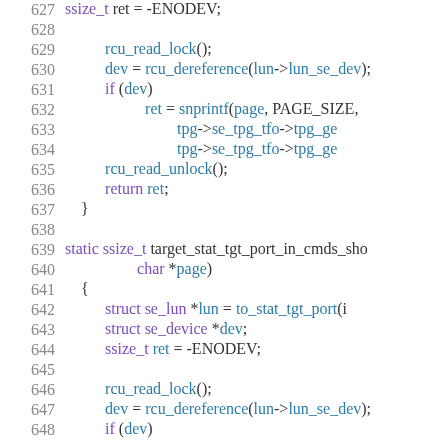[Figure (screenshot): Source code listing showing C code for Linux kernel target statistics functions, lines 627-648, with syntax highlighting. Line numbers in grey, keywords in purple, function/variable names in blue.]